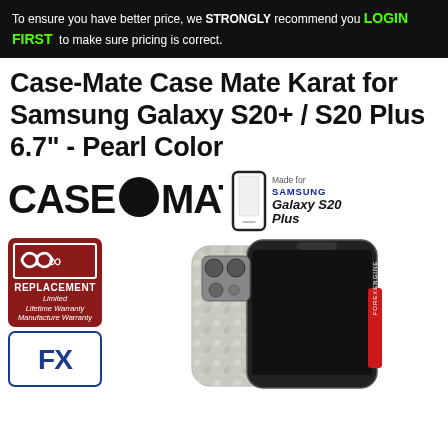To ensure you have better price, we STRONGLY recommend you LOGIN FIRST to make sure pricing is correct.
Case-Mate Case Mate Karat for Samsung Galaxy S20+ / S20 Plus 6.7" - Pearl Color
[Figure (logo): Case-Mate brand logo with large circle dot between CASE and MATE text]
[Figure (infographic): Samsung Galaxy S20 Plus phone outline with 'Made for SAMSUNG Galaxy S20 Plus' badge text]
[Figure (infographic): Red replacement limited lifetime warranty badge with infinity symbol]
[Figure (infographic): FX logo badge in blue border]
[Figure (photo): Product photo of Case-Mate Karat Pearl case on Samsung Galaxy S20 Plus showing pearl/shell pattern with FOREXENGINE branding on side]